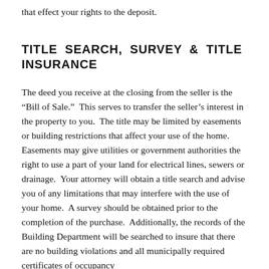that effect your rights to the deposit.
TITLE SEARCH, SURVEY & TITLE INSURANCE
The deed you receive at the closing from the seller is the “Bill of Sale.”  This serves to transfer the seller’s interest in the property to you.  The title may be limited by easements or building restrictions that affect your use of the home.  Easements may give utilities or government authorities the right to use a part of your land for electrical lines, sewers or drainage.  Your attorney will obtain a title search and advise you of any limitations that may interfere with the use of your home.  A survey should be obtained prior to the completion of the purchase.  Additionally, the records of the Building Department will be searched to insure that there are no building violations and all municipally required certificates of occupancy